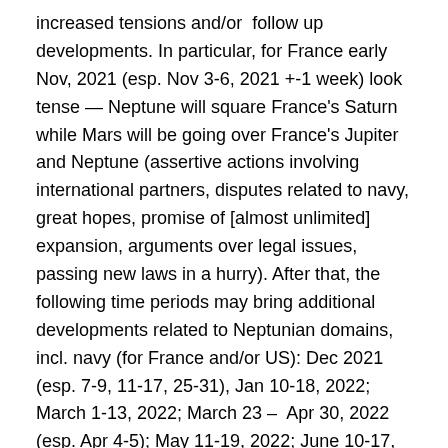increased tensions and/or follow up developments. In particular, for France early Nov, 2021 (esp. Nov 3-6, 2021 +-1 week) look tense — Neptune will square France's Saturn while Mars will be going over France's Jupiter and Neptune (assertive actions involving international partners, disputes related to navy, great hopes, promise of [almost unlimited] expansion, arguments over legal issues, passing new laws in a hurry). After that, the following time periods may bring additional developments related to Neptunian domains, incl. navy (for France and/or US): Dec 2021 (esp. 7-9, 11-17, 25-31), Jan 10-18, 2022; March 1-13, 2022; March 23 – Apr 30, 2022 (esp. Apr 4-5); May 11-19, 2022; June 10-17, 2022.
USA: Apr 2021 to Mar 2022, particularly Apr-Sep, 2021 and Feb-Mar, 2022 (and within these dates, esp. late Apr to early May, 2021; Aug 20-23, 2021;and late Feb – early